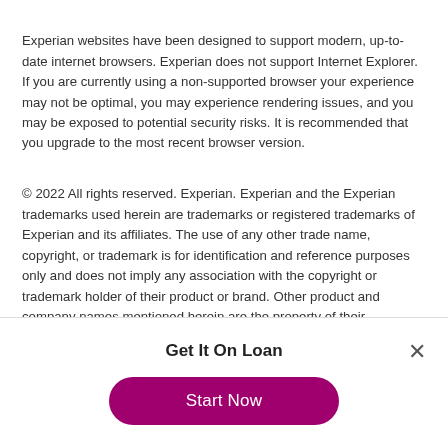Experian websites have been designed to support modern, up-to-date internet browsers. Experian does not support Internet Explorer. If you are currently using a non-supported browser your experience may not be optimal, you may experience rendering issues, and you may be exposed to potential security risks. It is recommended that you upgrade to the most recent browser version.
© 2022 All rights reserved. Experian. Experian and the Experian trademarks used herein are trademarks or registered trademarks of Experian and its affiliates. The use of any other trade name, copyright, or trademark is for identification and reference purposes only and does not imply any association with the copyright or trademark holder of their product or brand. Other product and company names mentioned herein are the property of their respective owners. Licenses and Disclosures.
Get It On Loan
Start Now